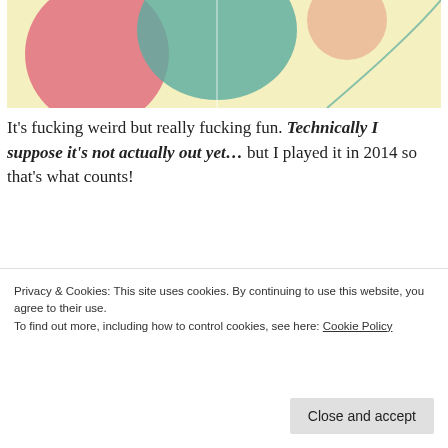[Figure (illustration): Partial colorful abstract illustration with pink, teal, and peach shapes on a light yellow background]
It's fucking weird but really fucking fun. Technically I suppose it's not actually out yet… but I played it in 2014 so that's what counts!
[Figure (screenshot): Green banner advertisement: 'The best real-time WordPress backup plugin' with a 'Back up your site' button]
Privacy & Cookies: This site uses cookies. By continuing to use this website, you agree to their use.
To find out more, including how to control cookies, see here: Cookie Policy
Close and accept